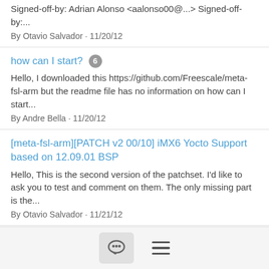Signed-off-by: Adrian Alonso <aalonso00@...> Signed-off-by:...
By Otavio Salvador · 11/20/12
how can I start? 6
Hello, I downloaded this https://github.com/Freescale/meta-fsl-arm but the readme file has no information on how can I start...
By Andre Bella · 11/20/12
[meta-fsl-arm][PATCH v2 00/10] iMX6 Yocto Support based on 12.09.01 BSP
Hello, This is the second version of the patchset. I'd like to ask you to test and comment on them. The only missing part is the...
By Otavio Salvador · 11/21/12
[meta-fsl-arm][PATCH v2 05/10] gpu-viv-bin-mx6q: Add Vivant GPU libraries
This recipe provides the binary libraries for use with iMX6 CPUs. Change-Id: If21cf21535fc8ec4a0a1117974a8cb1f43499f66...
By Otavio Salvador · 11/21/12
[Figure (screenshot): Bottom navigation bar with chat bubble icon button and hamburger menu icon]